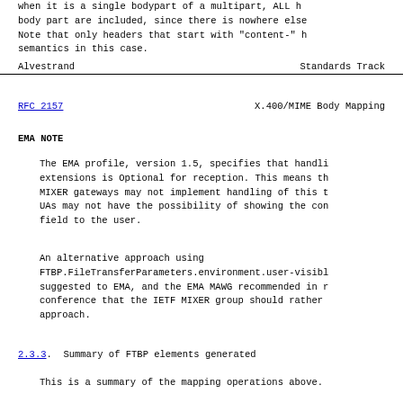when it is a single bodypart of a multipart, ALL headers for that body part are included, since there is nowhere else to put them. Note that only headers that start with "content-" have defined semantics in this case.
Alvestrand                    Standards Track
RFC 2157                X.400/MIME Body Mapping
EMA NOTE
The EMA profile, version 1.5, specifies that handling of extensions is Optional for reception. This means that MIXER gateways may not implement handling of this type, and UAs may not have the possibility of showing the content-type field to the user.
An alternative approach using FTBP.FileTransferParameters.environment.user-visible-string was suggested to EMA, and the EMA MAWG recommended in a recent conference that the IETF MIXER group should rather use this approach.
2.3.3.  Summary of FTBP elements generated
This is a summary of the mapping operations above.